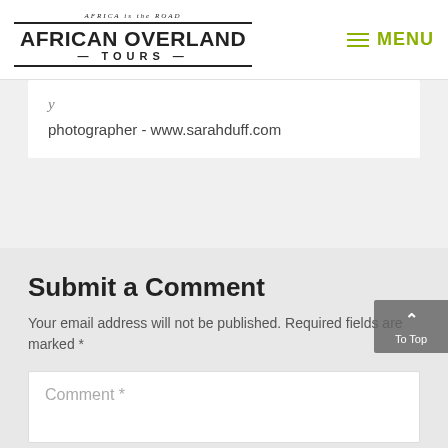[Figure (logo): African Overland Tours logo with text 'AFRICA is the ROAD' above 'AFRICAN OVERLAND TOURS' in bold]
MENU
photographer - www.sarahduff.com
Submit a Comment
Your email address will not be published. Required fields are marked *
Comment *